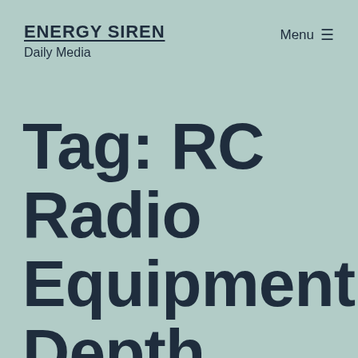ENERGY SIREN
Daily Media
Menu ☰
Tag: RC Radio Equipment Depth Market Forecast to